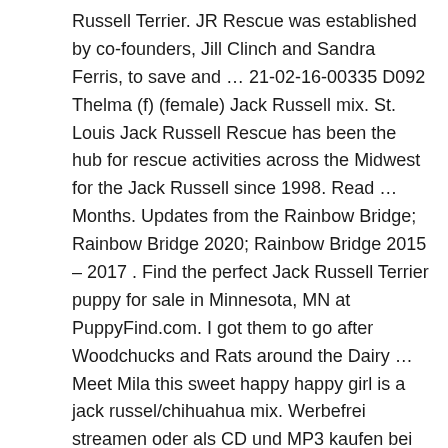Russell Terrier. JR Rescue was established by co-founders, Jill Clinch and Sandra Ferris, to save and … 21-02-16-00335 D092 Thelma (f) (female) Jack Russell mix. St. Louis Jack Russell Rescue has been the hub for rescue activities across the Midwest for the Jack Russell since 1998. Read … Months. Updates from the Rainbow Bridge; Rainbow Bridge 2020; Rainbow Bridge 2015 – 2017 . Find the perfect Jack Russell Terrier puppy for sale in Minnesota, MN at PuppyFind.com. I got them to go after Woodchucks and Rats around the Dairy … Meet Mila this sweet happy happy girl is a jack russel/chihuahua mix. Werbefrei streamen oder als CD und MP3 kaufen bei Amazon.de. We ask that when you contact us to surrender your dog, please complete the form below with as much information as possible and send us pictures of the dog. Create New Account. Since we are a foster home only rescue, we … To surrender your Jack Russell Terrier, you'll take him to an animal shelter or a